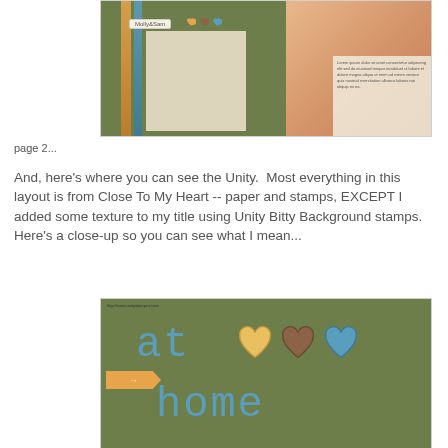[Figure (photo): Scrapbook layout page 1 showing green background with decorative strips, paper, hearts, and photos of Molly and Sam]
page 2...
And, here's where you can see the Unity.  Most everything in this layout is from Close To My Heart -- paper and stamps, EXCEPT I added some texture to my title using Unity Bitty Background stamps.
Here's a close-up so you can see what I mean...
[Figure (photo): Close-up scrapbook photo showing green background with blue stamped text reading 'at home', three heart embellishments in yellow, brown, and blue, and an orange banner/flag]